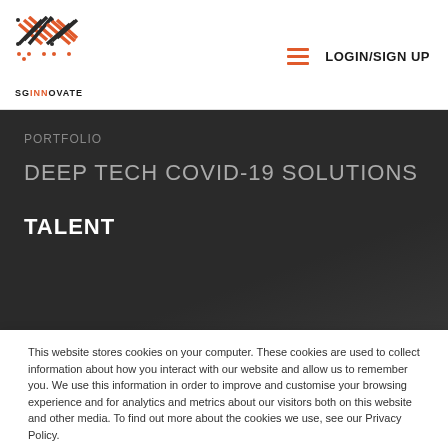SGInnovate | LOGIN/SIGN UP
PORTFOLIO
DEEP TECH COVID-19 SOLUTIONS
TALENT
This website stores cookies on your computer. These cookies are used to collect information about how you interact with our website and allow us to remember you. We use this information in order to improve and customise your browsing experience and for analytics and metrics about our visitors both on this website and other media. To find out more about the cookies we use, see our Privacy Policy.
Accept